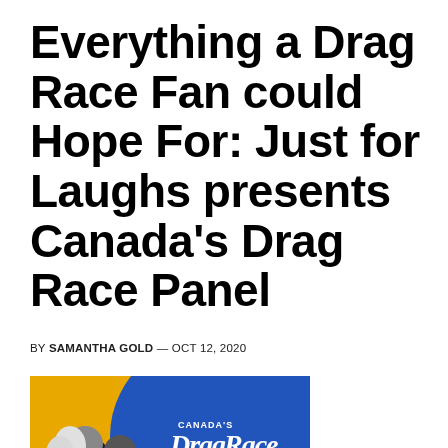Everything a Drag Race Fan could Hope For: Just for Laughs presents Canada's Drag Race Panel
BY SAMANTHA GOLD — OCT 12, 2020
[Figure (photo): Canada's Drag Race panel promotional image with yellow and blue background, featuring drag performers and the show logo]